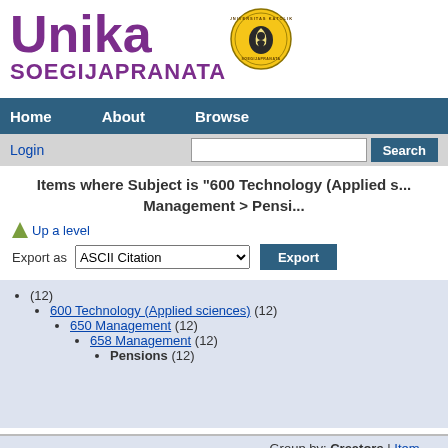[Figure (logo): Unika Soegijapranata university logo with emblem]
Home   About   Browse
Login   [search box]   Search
Items where Subject is "600 Technology (Applied s... Management > Pensi..."
Up a level
Export as  ASCII Citation  Export
(12)
600 Technology (Applied sciences) (12)
650 Management (12)
658 Management (12)
Pensions (12)
Group by: Creators | Item ...